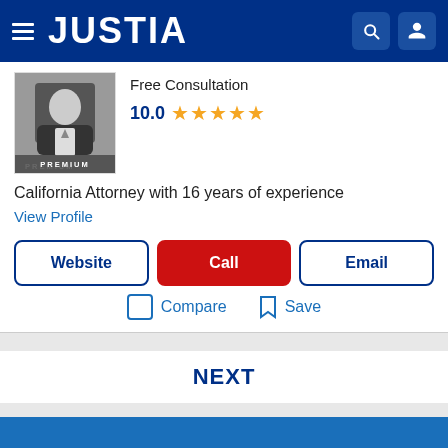JUSTIA
Free Consultation
10.0 ★★★★★
California Attorney with 16 years of experience
View Profile
Website | Call | Email
Compare   Save
NEXT
Recent (0)   Saved (0)   Compare (0/3)